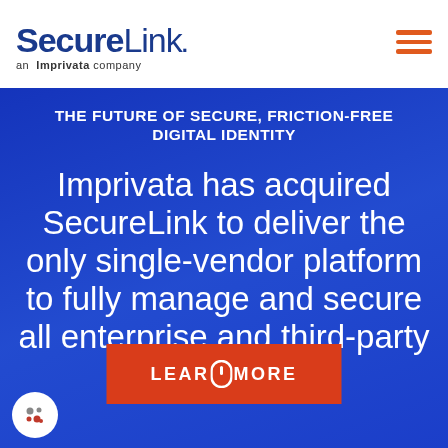[Figure (logo): SecureLink logo with bold 'Secure' and regular 'Link.' text, underneath reads 'an Imprivata company']
[Figure (other): Hamburger menu icon with three orange horizontal lines]
THE FUTURE OF SECURE, FRICTION-FREE DIGITAL IDENTITY
Imprivata has acquired SecureLink to deliver the only single-vendor platform to fully manage and secure all enterprise and third-party digital identities.
[Figure (other): Red button with text LEARN MORE and a cursor/mouse icon]